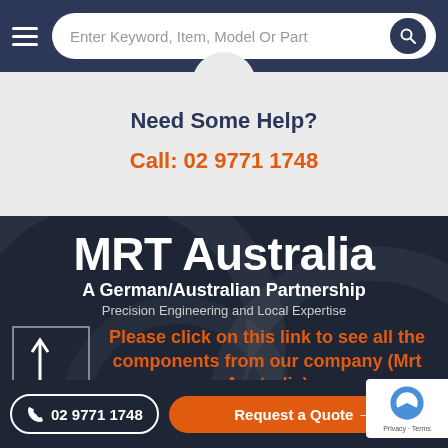[Figure (screenshot): Website navigation bar with hamburger menu icon and search field reading 'Enter Keyword, Item, Model Or Part' with a dark search button]
Need Some Help?
Call: 02 9771 1748
MRT Australia
A German/Australian Partnership
Precision Engineering and Local Expertise
Please click on this link to see all the components from our company (Mrt Australia)
02 9771 1748
Request a Quote →